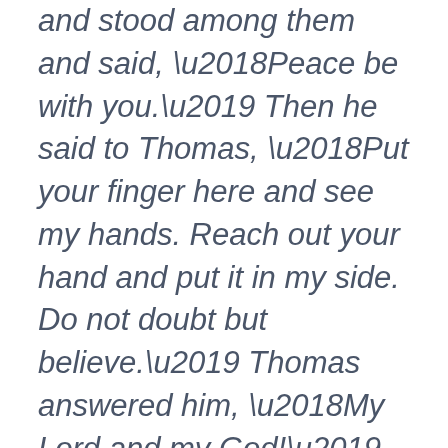and stood among them and said, ‘Peace be with you.’ Then he said to Thomas, ‘Put your finger here and see my hands. Reach out your hand and put it in my side. Do not doubt but believe.’ Thomas answered him, ‘My Lord and my God!’ Jesus said to him, ‘Have you believed because you have seen me? Blessed are those who have not seen and yet have come to